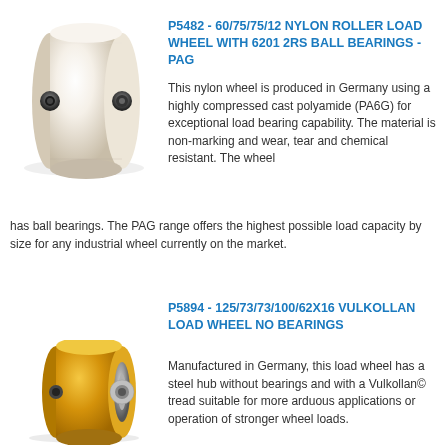[Figure (photo): White/cream colored nylon roller load wheel with visible ball bearing center hub]
P5482 - 60/75/75/12 NYLON ROLLER LOAD WHEEL WITH 6201 2RS BALL BEARINGS - PAG
This nylon wheel is produced in Germany using a highly compressed cast polyamide (PA6G) for exceptional load bearing capability. The material is non-marking and wear, tear and chemical resistant. The wheel has ball bearings. The PAG range offers the highest possible load capacity by size for any industrial wheel currently on the market.
[Figure (photo): Yellow Vulkollan load wheel with steel hub and no bearings]
P5894 - 125/73/73/100/62X16 VULKOLLAN LOAD WHEEL NO BEARINGS
Manufactured in Germany, this load wheel has a steel hub without bearings and with a Vulkollan© tread suitable for more arduous applications or operation of stronger wheel loads.